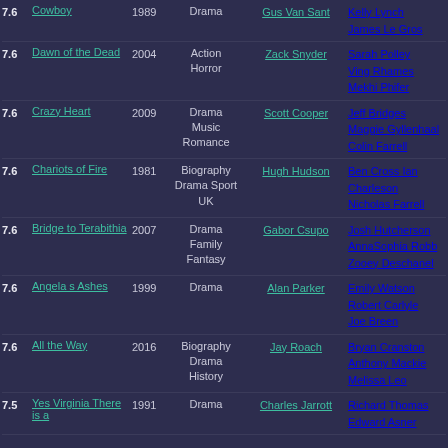| Rating | Title | Year | Genre | Director | Cast |
| --- | --- | --- | --- | --- | --- |
| 7.6 | Cowboy | 1989 | Drama | Gus Van Sant | Kelly Lynch James Le Gros |
| 7.6 | Dawn of the Dead | 2004 | Action Horror | Zack Snyder | Sarah Polley Ving Rhames Mekhi Phifer |
| 7.6 | Crazy Heart | 2009 | Drama Music Romance | Scott Cooper | Jeff Bridges Maggie Gyllenhaal Colin Farrell |
| 7.6 | Chariots of Fire | 1981 | Biography Drama Sport UK | Hugh Hudson | Ben Cross Ian Charleson Nicholas Farrell |
| 7.6 | Bridge to Terabithia | 2007 | Drama Family Fantasy | Gabor Csupo | Josh Hutcherson AnnaSophia Robb Zooey Deschanel |
| 7.6 | Angela s Ashes | 1999 | Drama | Alan Parker | Emily Watson Robert Carlyle Joe Breen |
| 7.6 | All the Way | 2016 | Biography Drama History | Jay Roach | Bryan Cranston Anthony Mackie Melissa Leo |
| 7.5 | Yes Virginia There is a | 1991 | Drama | Charles Jarrott | Richard Thomas Edward Asner |